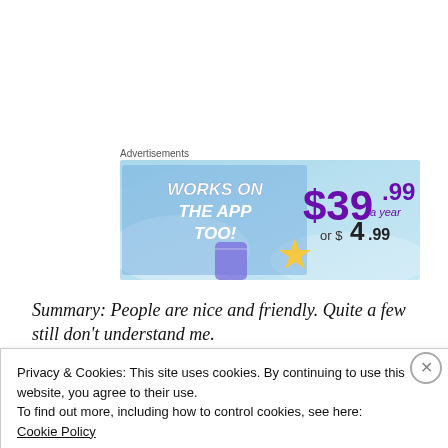Advertisements
[Figure (screenshot): Advertisement banner with blue background showing 'WORKS ON THE APP TOO!' in white bold italic text on left, and '$39.99 a year or $4.99' in purple/dark text on right]
Summary: People are nice and friendly. Quite a few still don’t understand me.
Entertainment:
Privacy & Cookies: This site uses cookies. By continuing to use this website, you agree to their use.
To find out more, including how to control cookies, see here:
Cookie Policy
Close and accept